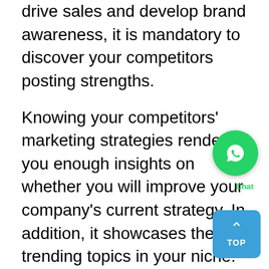drive sales and develop brand awareness, it is mandatory to discover your competitors posting strengths.
Knowing your competitors' marketing strategies renders you enough insights on whether you will improve your company's current strategy. In addition, it showcases the trending topics in your niche. Being the most powerful competitor tracking software, BuzzSumo makes engagement analysis much more accessible and helps measure your content success compared to competitors' cont
Use the tool correctly to find the competitor's most shared content on the specific platform and find the influencers who spread the word about the products and services of the competitors. It also creates reports, which compare your performance to the